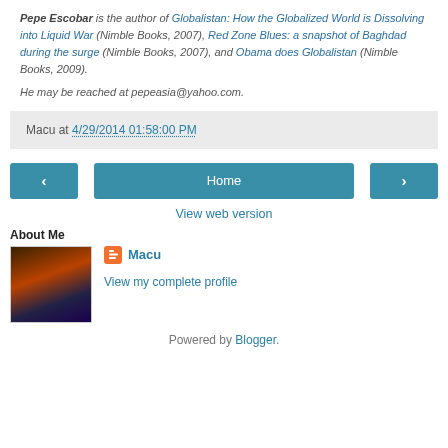Pepe Escobar is the author of Globalistan: How the Globalized World is Dissolving into Liquid War (Nimble Books, 2007), Red Zone Blues: a snapshot of Baghdad during the surge (Nimble Books, 2007), and Obama does Globalistan (Nimble Books, 2009).
He may be reached at pepeasia@yahoo.com.
Macu at 4/29/2014 01:58:00 PM
‹ | Home | ›
View web version
About Me
Macu
View my complete profile
Powered by Blogger.